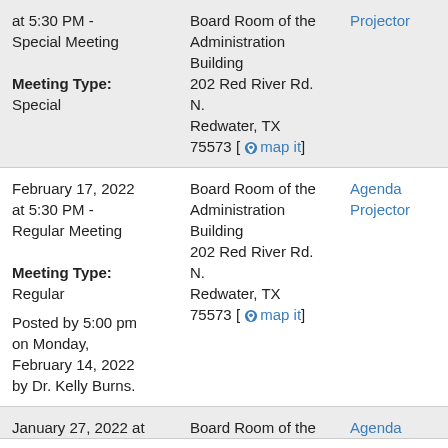| Date/Time/Type | Location | Documents |
| --- | --- | --- |
| at 5:30 PM - Special Meeting
Meeting Type: Special | Board Room of the Administration Building
202 Red River Rd. N.
Redwater, TX 75573 [map it] | Projector |
| February 17, 2022 at 5:30 PM - Regular Meeting
Meeting Type: Regular
Posted by 5:00 pm on Monday, February 14, 2022 by Dr. Kelly Burns. | Board Room of the Administration Building
202 Red River Rd. N.
Redwater, TX 75573 [map it] | Agenda
Projector |
| January 27, 2022 at | Board Room of the | Agenda |